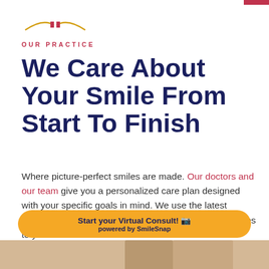[Figure (logo): Decorative logo mark with golden arc lines and small red rectangular accents]
OUR PRACTICE
We Care About Your Smile From Start To Finish
Where picture-perfect smiles are made. Our doctors and our team give you a personalized care plan designed with your specific goals in mind. We use the latest technology, giving you a variety of options when it comes to your care.
[Figure (other): LEARN MORE button with dark navy blue shadow offset]
[Figure (other): Start your Virtual Consult! powered by SmileSnap - gold rounded button with camera icon]
[Figure (photo): Bottom strip showing partial photo of a person, beige/tan background]